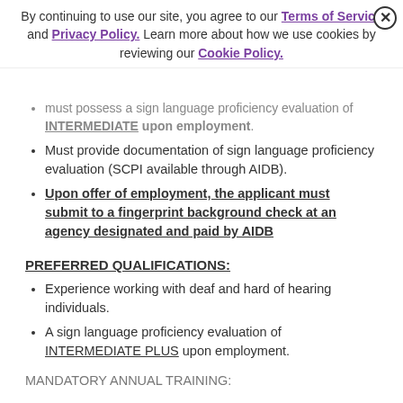By continuing to use our site, you agree to our Terms of Service and Privacy Policy. Learn more about how we use cookies by reviewing our Cookie Policy.
must possess a sign language proficiency evaluation of INTERMEDIATE upon employment.
Must provide documentation of sign language proficiency evaluation (SCPI available through AIDB).
Upon offer of employment, the applicant must submit to a fingerprint background check at an agency designated and paid by AIDB
PREFERRED QUALIFICATIONS:
Experience working with deaf and hard of hearing individuals.
A sign language proficiency evaluation of INTERMEDIATE PLUS upon employment.
MANDATORY ANNUAL TRAINING: